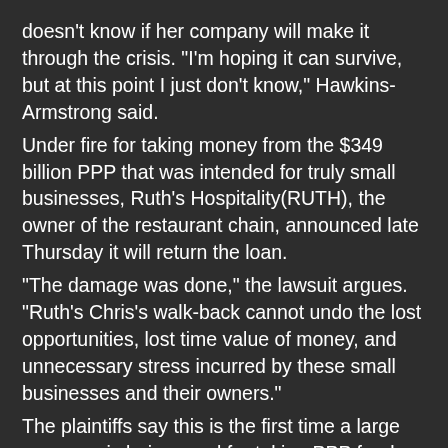doesn't know if her company will make it through the crisis. "I'm hoping it can survive, but at this point I just don't know," Hawkins-Armstrong said.
Under fire for taking money from the $349 billion PPP that was intended for truly small businesses, Ruth's Hospitality(RUTH), the owner of the restaurant chain, announced late Thursday it will return the loan.
"The damage was done," the lawsuit argues. "Ruth's Chris's walk-back cannot undo the lost opportunities, lost time value of money, and unnecessary stress incurred by these small businesses and their owners."
The plaintiffs say this is the first time a large company is being sued for taking PPP funds. The Trump administration is now strongly urging public companies to repay these loans.
The backlash against banks and large businesses that